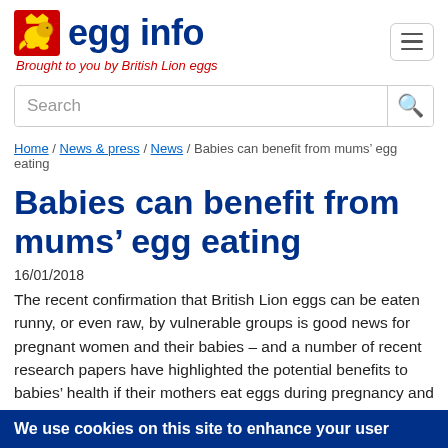egg info – Brought to you by British Lion eggs
Search
Home / News & press / News / Babies can benefit from mums' egg eating
Babies can benefit from mums' egg eating
16/01/2018
The recent confirmation that British Lion eggs can be eaten runny, or even raw, by vulnerable groups is good news for pregnant women and their babies – and a number of recent research papers have highlighted the potential benefits to babies' health if their mothers eat eggs during pregnancy and when breastfeeding.
We use cookies on this site to enhance your user